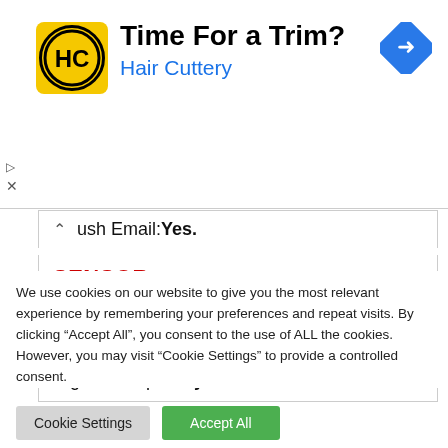[Figure (other): Advertisement banner for Hair Cuttery with logo, title 'Time For a Trim?', subtitle 'Hair Cuttery', and a blue direction arrow icon on the right.]
Push Email: Yes.
SENSOR
fingerprint: YES.
Digital Compass: yES
We use cookies on our website to give you the most relevant experience by remembering your preferences and repeat visits. By clicking “Accept All”, you consent to the use of ALL the cookies. However, you may visit "Cookie Settings" to provide a controlled consent.
Cookie Settings
Accept All